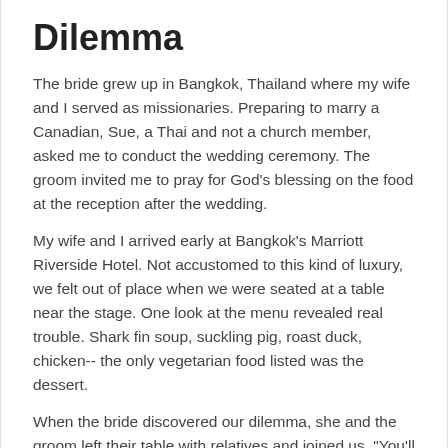Dilemma
The bride grew up in Bangkok, Thailand where my wife and I served as missionaries. Preparing to marry a Canadian, Sue, a Thai and not a church member, asked me to conduct the wedding ceremony. The groom invited me to pray for God's blessing on the food at the reception after the wedding.
My wife and I arrived early at Bangkok's Marriott Riverside Hotel. Not accustomed to this kind of luxury, we felt out of place when we were seated at a table near the stage. One look at the menu revealed real trouble. Shark fin soup, suckling pig, roast duck, chicken-- the only vegetarian food listed was the dessert.
When the bride discovered our dilemma, she and the groom left their table with relatives and joined us. "You'll have to wait about 20 minutes," she said. "I've ordered vegetarian food." All the other tables were served a whole young pig. The bride and groom stayed and ate vegetarian food with us.